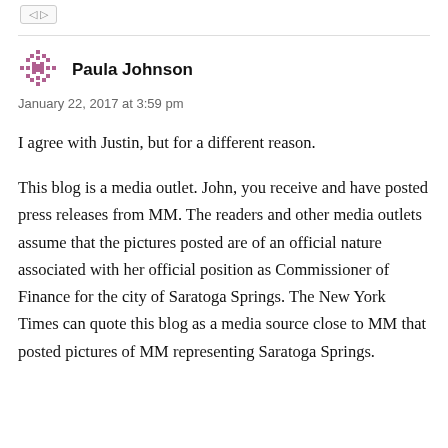[Figure (illustration): Small decorative avatar/icon — a pixelated snowflake or cross-hatch pattern in dark pink/mauve color]
Paula Johnson
January 22, 2017 at 3:59 pm
I agree with Justin, but for a different reason.
This blog is a media outlet. John, you receive and have posted press releases from MM. The readers and other media outlets assume that the pictures posted are of an official nature associated with her official position as Commissioner of Finance for the city of Saratoga Springs. The New York Times can quote this blog as a media source close to MM that posted pictures of MM representing Saratoga Springs.